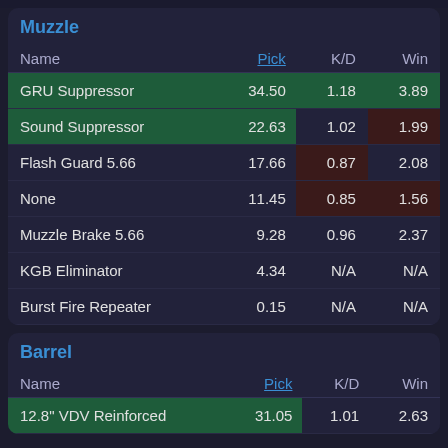Muzzle
| Name | Pick | K/D | Win |
| --- | --- | --- | --- |
| GRU Suppressor | 34.50 | 1.18 | 3.89 |
| Sound Suppressor | 22.63 | 1.02 | 1.99 |
| Flash Guard 5.66 | 17.66 | 0.87 | 2.08 |
| None | 11.45 | 0.85 | 1.56 |
| Muzzle Brake 5.66 | 9.28 | 0.96 | 2.37 |
| KGB Eliminator | 4.34 | N/A | N/A |
| Burst Fire Repeater | 0.15 | N/A | N/A |
Barrel
| Name | Pick | K/D | Win |
| --- | --- | --- | --- |
| 12.8" VDV Reinforced | 31.05 | 1.01 | 2.63 |